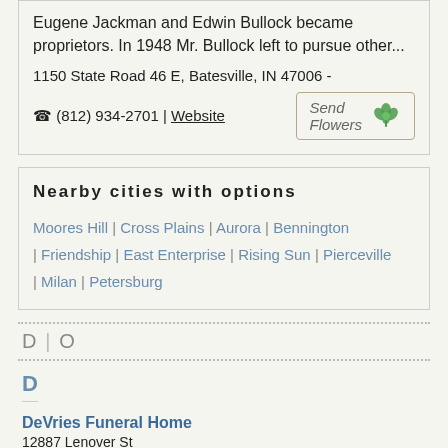Eugene Jackman and Edwin Bullock became proprietors. In 1948 Mr. Bullock left to pursue other...
1150 State Road 46 E, Batesville, IN 47006 -
☎ (812) 934-2701 | Website
Nearby cities with options
Moores Hill | Cross Plains | Aurora | Bennington | Friendship | East Enterprise | Rising Sun | Pierceville | Milan | Petersburg
D | O
D
DeVries Funeral Home
12887 Lenover St